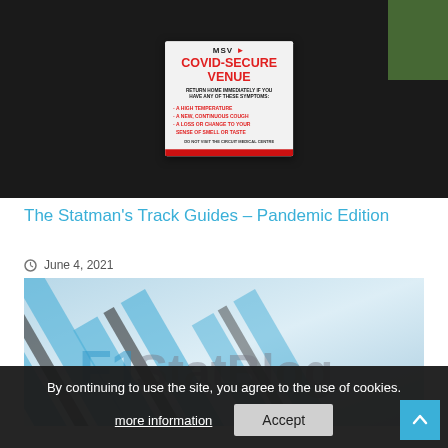[Figure (photo): Photo of a COVID-Secure Venue sign mounted on a dark/black wall. The white sign reads 'MSV' at top with arrow logo, then 'COVID-SECURE VENUE' in large red bold text, followed by 'RETURN HOME IMMEDIATELY IF YOU HAVE ANY OF THESE SYMPTOMS:' and bullet points for 'A HIGH TEMPERATURE', 'A NEW, CONTINUOUS COUGH', 'A LOSS OR CHANGE TO YOUR SENSE OF SMELL OR TASTE', and footer text 'DO NOT VISIT THE CIRCUIT MEDICAL CENTRE'. Sign has a red bar at the bottom.]
The Statman's Track Guides – Pandemic Edition
June 4, 2021
[Figure (logo): F1 StatBlog logo image with blue, dark grey, and light diagonal stripes on a light blue/grey background, with 'F1 StatBlog' text in semi-transparent blue/grey.]
By continuing to use the site, you agree to the use of cookies.
more information
Accept